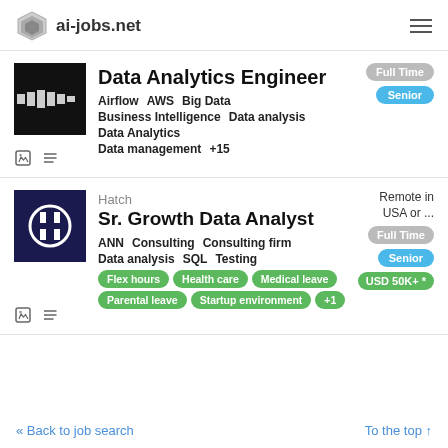ai-jobs.net
Data Analytics Engineer
Airflow   AWS   Big Data   Business Intelligence   Data analysis   Data Analytics   Data management   +15
Full Time   Senior
Hatch
Sr. Growth Data Analyst
ANN   Consulting   Consulting firm   Data analysis   SQL   Testing
Flex hours   Health care   Medical leave   Parental leave   Startup environment   +1
Remote in USA or ...   Full Time   Senior   USD 50K+ *
« Back to job search   To the top ↑